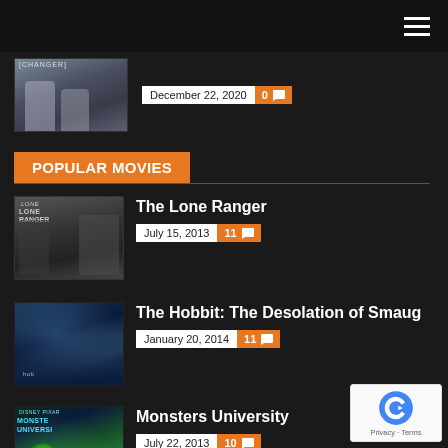Navigation bar with hamburger menu
[Figure (photo): Partial movie thumbnail (top, cropped) with date December 22, 2020 and 0 comments]
December 22, 2020  0
POPULAR MOVIES
[Figure (photo): The Lone Ranger movie poster thumbnail]
The Lone Ranger
July 15, 2013  11
[Figure (photo): The Hobbit: The Desolation of Smaug movie poster thumbnail]
The Hobbit: The Desolation of Smaug
January 20, 2014  11
[Figure (photo): Monsters University movie poster thumbnail]
Monsters University
July 22, 2013  10